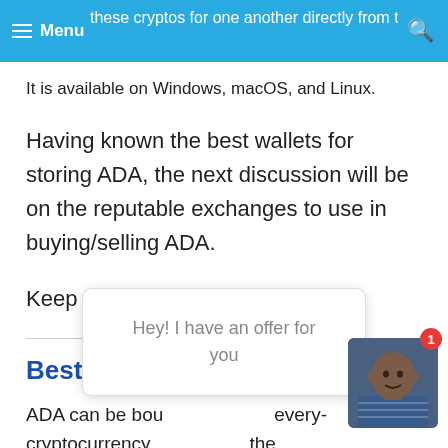≡ Menu | these cryptos for one another directly from the app
It is available on Windows, macOS, and Linux.
Having known the best wallets for storing ADA, the next discussion will be on the reputable exchanges to use in buying/selling ADA.
Keep on reading.
Best Cardano(ADA) Exchanges
ADA can be bou... eve... cryptocurrency.... the best cryptocurrency on coinmarketcap.com (as of